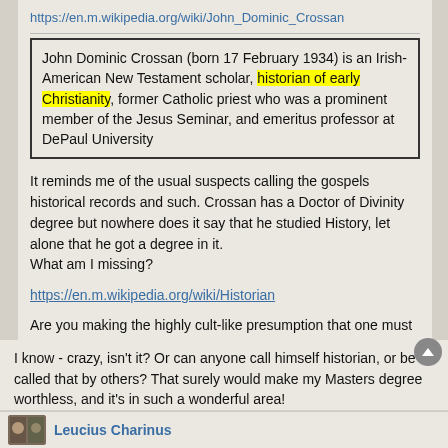https://en.m.wikipedia.org/wiki/John_Dominic_Crossan
John Dominic Crossan (born 17 February 1934) is an Irish-American New Testament scholar, historian of early Christianity, former Catholic priest who was a prominent member of the Jesus Seminar, and emeritus professor at DePaul University
It reminds me of the usual suspects calling the gospels historical records and such. Crossan has a Doctor of Divinity degree but nowhere does it say that he studied History, let alone that he got a degree in it.
What am I missing?
https://en.m.wikipedia.org/wiki/Historian
Are you making the highly cult-like presumption that one must have certified papers whereby to prove that they have studied history?
I know - crazy, isn't it? Or can anyone call himself historian, or be called that by others? That surely would make my Masters degree worthless, and it's in such a wonderful area!
Leucius Charinus